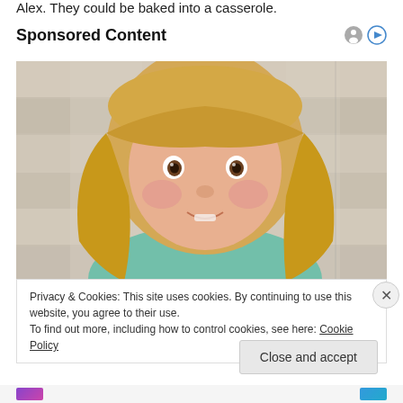Alex. They could be baked into a casserole.
Sponsored Content
[Figure (photo): Close-up photo of a young toddler girl with blonde hair and brown eyes, wearing a teal/mint shirt, photographed against a rustic white wooden background. The child is looking slightly to the side with a gentle expression.]
Privacy & Cookies: This site uses cookies. By continuing to use this website, you agree to their use.
To find out more, including how to control cookies, see here: Cookie Policy
Close and accept